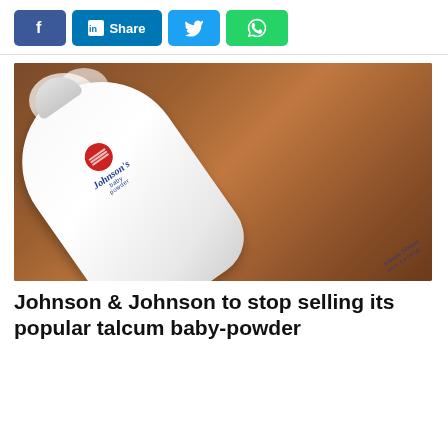Social share bar with Facebook, LinkedIn Share, Twitter, WhatsApp buttons
[Figure (photo): A Johnson's baby powder bottle lying on a wooden surface with white powder puffing out from the top. The white bottle shows the Johnson's script logo in blue with a red circular emblem, labeled 'baby powder'. The background is a warm brown wooden table.]
Johnson & Johnson to stop selling its popular talcum baby-powder